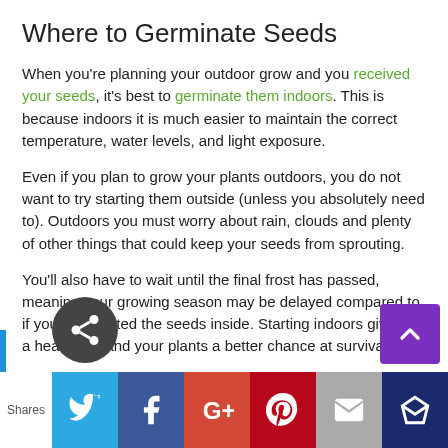Where to Germinate Seeds
When you're planning your outdoor grow and you received your seeds, it's best to germinate them indoors. This is because indoors it is much easier to maintain the correct temperature, water levels, and light exposure.
Even if you plan to grow your plants outdoors, you do not want to try starting them outside (unless you absolutely need to). Outdoors you must worry about rain, clouds and plenty of other things that could keep your seeds from sprouting.
You'll also have to wait until the final frost has passed, meaning your growing season may be delayed compared to if you had started the seeds inside. Starting indoors give you a head start and your plants a better chance at survival.